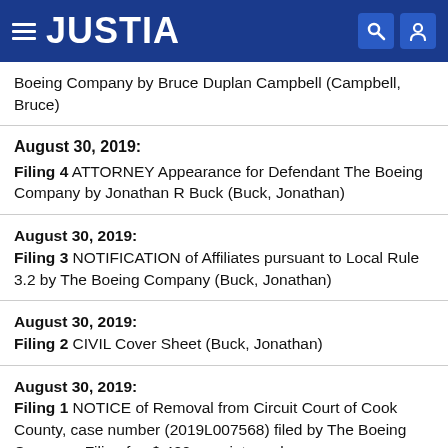JUSTIA
Boeing Company by Bruce Duplan Campbell (Campbell, Bruce)
August 30, 2019: Filing 4 ATTORNEY Appearance for Defendant The Boeing Company by Jonathan R Buck (Buck, Jonathan)
August 30, 2019: Filing 3 NOTIFICATION of Affiliates pursuant to Local Rule 3.2 by The Boeing Company (Buck, Jonathan)
August 30, 2019: Filing 2 CIVIL Cover Sheet (Buck, Jonathan)
August 30, 2019: Filing 1 NOTICE of Removal from Circuit Court of Cook County, case number (2019L007568) filed by The Boeing Company Filing fee $ 400, receipt number